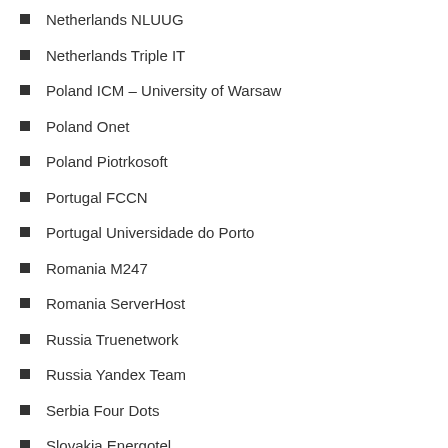Netherlands NLUUG
Netherlands Triple IT
Poland ICM – University of Warsaw
Poland Onet
Poland Piotrkosoft
Portugal FCCN
Portugal Universidade do Porto
Romania M247
Romania ServerHost
Russia Truenetwork
Russia Yandex Team
Serbia Four Dots
Slovakia Energotel
Spain Oficina do Software Libre do Cixug